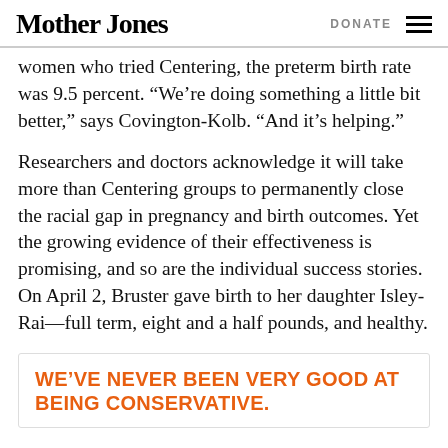Mother Jones | DONATE
women who tried Centering, the preterm birth rate was 9.5 percent. “We’re doing something a little bit better,” says Covington-Kolb. “And it’s helping.”
Researchers and doctors acknowledge it will take more than Centering groups to permanently close the racial gap in pregnancy and birth outcomes. Yet the growing evidence of their effectiveness is promising, and so are the individual success stories. On April 2, Bruster gave birth to her daughter Isley-Rai—full term, eight and a half pounds, and healthy.
WE’VE NEVER BEEN VERY GOOD AT BEING CONSERVATIVE.